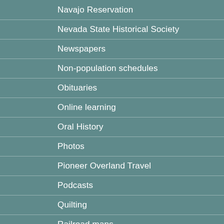Navajo Reservation
Nevada State Historical Society
Newspapers
Non-population schedules
Obituaries
Online learning
Oral History
Photos
Pioneer Overland Travel
Podcasts
Quilting
Railroad maps
Research Center for Utah State History